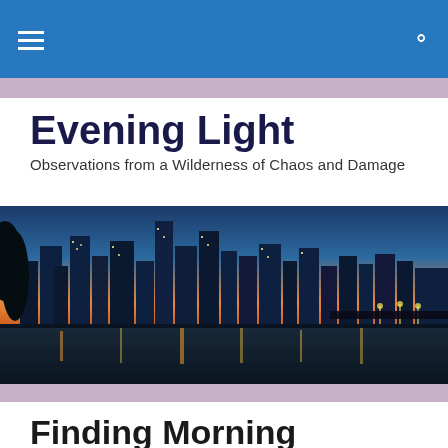Evening Light — navigation header with hamburger menu and search icon
Evening Light
Observations from a Wilderness of Chaos and Damage
[Figure (photo): Nighttime city skyline with illuminated buildings reflected in a river, twilight sky in the background with silhouetted trees on the left.]
Finding Morning
I woke to an aggressively irritating, harsh, grating, repetitive noise that just would not stop… It was hard to move, and my head still feels stuffy half an hour after realizing that was the alarm clock, and finally finding the